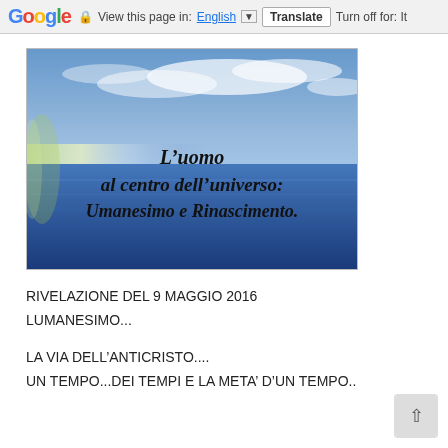Google  View this page in: English [▼]  Translate  Turn off for: It...
[Figure (illustration): An ocean/sea scene with blue sky and clouds above a calm blue sea. Overlaid italic bold text reads: L'uomo al centro dell'universo: Umanesimo e Rinascimento.]
RIVELAZIONE DEL 9 MAGGIO 2016
LUMANESIMO...

LA VIA DELL'ANTICRISTO....
UN TEMPO...DEI TEMPI E LA META' D'UN TEMPO..